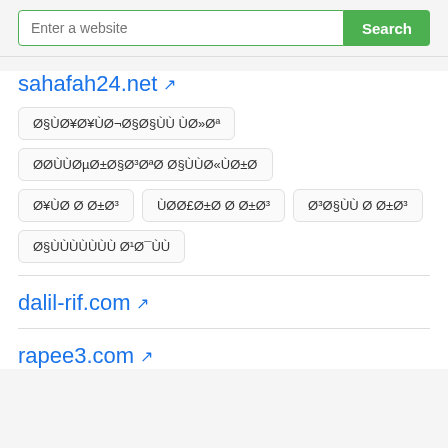Enter a website [Search]
sahafah24.net ↗
Ø§ÙØ¥Ø¥ÙØ¬Ø§Ø§ÙÙ ÙØ»Øª
ØØÙÙØµØ±Ø§Ø³ØªØ Ø§ÙÙØ«ÙØ±Ø
Ø¥ÙØ Ø Ø±Ø³
ÙØØ£Ø±Ø Ø Ø±Ø³
Ø³Ø§ÙÙ Ø Ø±Ø³
Ø§ÙÙÙÙÙÙÙ Ø¹Ø¯ÙÙ
dalil-rif.com ↗
rapee3.com ↗